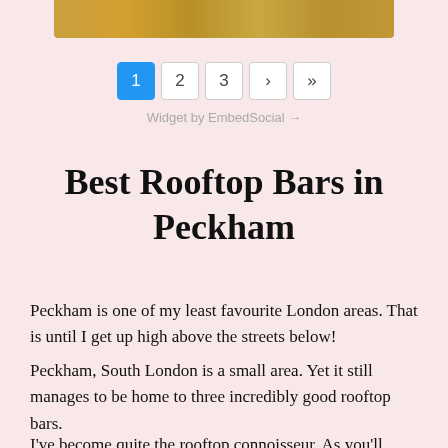[Figure (photo): Partial bottom edge of a rooftop photo showing golden/brown tones, cropped at top of page]
1  2  3  ›  »
Widget by EmbedSocial →
Best Rooftop Bars in Peckham
Peckham is one of my least favourite London areas. That is until I get up high above the streets below!
Peckham, South London is a small area. Yet it still manages to be home to three incredibly good rooftop bars.
I've become quite the rooftop connoisseur. As you'll